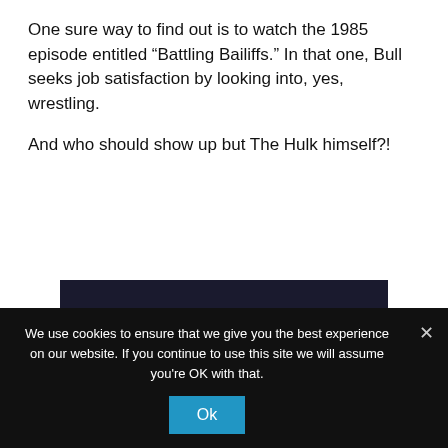One sure way to find out is to watch the 1985 episode entitled “Battling Bailiffs.” In that one, Bull seeks job satisfaction by looking into, yes, wrestling.
And who should show up but The Hulk himself?!
[Figure (screenshot): Video Unavailable placeholder from an embedded video player. Text reads: 'Video Unavailable – This video may no longer exist, or you don’t have permission to view it.' with a 'Learn more' link.]
We use cookies to ensure that we give you the best experience on our website. If you continue to use this site we will assume you're OK with that.